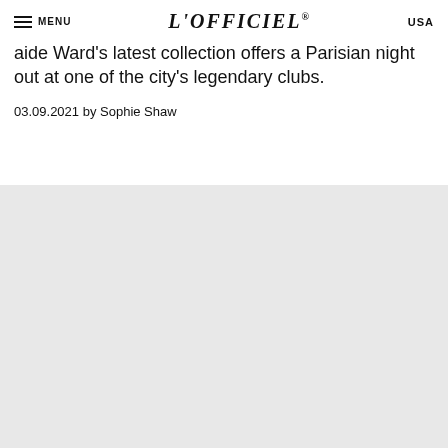L'OFFICIEL® USA
aide Ward's latest collection offers a Parisian night out at one of the city's legendary clubs.
03.09.2021 by Sophie Shaw
[Figure (photo): Large light grey image placeholder area occupying lower portion of page]